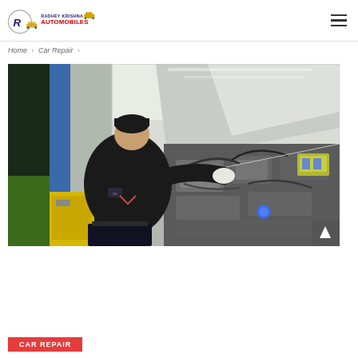Radhey Krishna Automobiles
Home > Car Repair >
[Figure (photo): A mechanic leaning over and working inside an open car engine bay in an automobile workshop. The mechanic is wearing a dark uniform. Various engine components are visible.]
CAR REPAIR